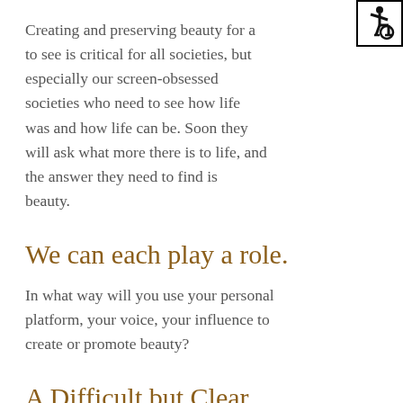[Figure (other): Accessibility icon (wheelchair symbol) in a black-bordered square, top-right corner]
Creating and preserving beauty for all to see is critical for all societies, but especially our screen-obsessed societies who need to see how life was and how life can be. Soon they will ask what more there is to life, and the answer they need to find is beauty.
We can each play a role.
In what way will you use your personal platform, your voice, your influence to create or promote beauty?
A Difficult but Clear Choice